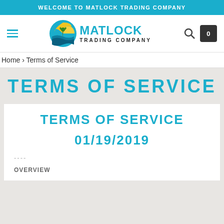WELCOME TO MATLOCK TRADING COMPANY
[Figure (logo): Matlock Trading Company logo with circular sun/wave icon and text MATLOCK TRADING COMPANY]
Home › Terms of Service
TERMS OF SERVICE
TERMS OF SERVICE
01/19/2019
----
OVERVIEW